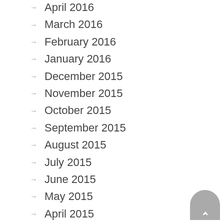April 2016
March 2016
February 2016
January 2016
December 2015
November 2015
October 2015
September 2015
August 2015
July 2015
June 2015
May 2015
April 2015
March 2015
January 2015
December 2014
November 2014
September 2014